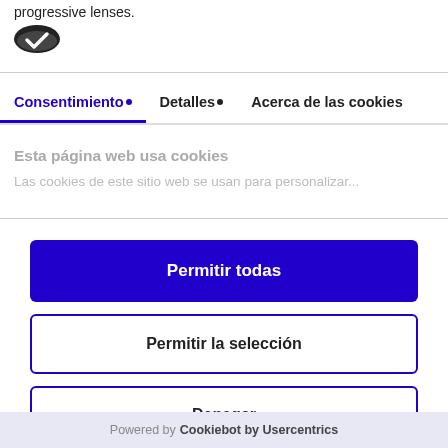progressive lenses.
[Figure (logo): Cookiebot logo - dark oval badge with checkmark]
Consentimiento • | Detalles • | Acerca de las cookies
Esta página web usa cookies
Las cookies de este sitio web se usan para personalizar...
Permitir todas
Permitir la selección
Denegar
Powered by Cookiebot by Usercentrics